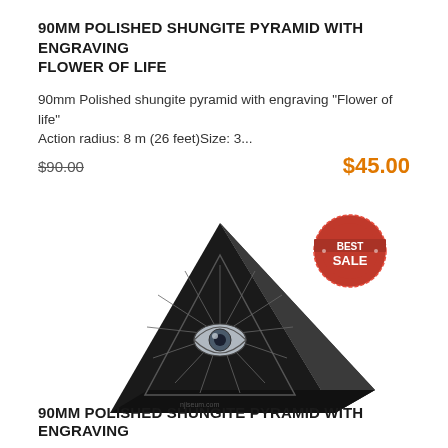90MM POLISHED SHUNGITE PYRAMID WITH ENGRAVING FLOWER OF LIFE
90mm Polished shungite pyramid with engraving "Flower of life" Action radius: 8 m (26 feet)Size: 3...
$90.00   $45.00
[Figure (photo): Black polished shungite pyramid with an engraved all-seeing eye / triangle pattern on its face. A red 'BEST SALE' badge stamp is visible in the upper right area of the image.]
90MM POLISHED SHUNGITE PYRAMID WITH ENGRAVING